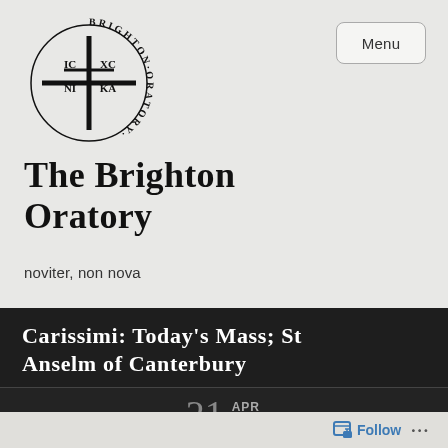[Figure (logo): Brighton Oratory circular logo with cross and IC XC NI KA text]
The Brighton Oratory
noviter, non nova
Carissimi: Today's Mass; St Anselm of Canterbury
21 APR 2021
Follow